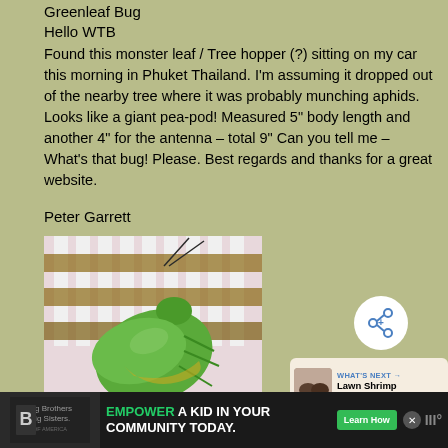Greenleaf Bug
Hello WTB
Found this monster leaf / Tree hopper (?) sitting on my car this morning in Phuket Thailand. I'm assuming it dropped out of the nearby tree where it was probably munching aphids. Looks like a giant pea-pod! Measured 5" body length and another 4" for the antenna – total 9" Can you tell me – What's that bug! Please. Best regards and thanks for a great website.
Peter Garrett
[Figure (photo): Close-up photo of a large green leafhopper/treehopper insect sitting on what appears to be a white fence or lattice with pink background. The insect is bright green and large.]
WHAT'S NEXT → Lawn Shrimp in Australia
EMPOWER A KID IN YOUR COMMUNITY TODAY. Learn How